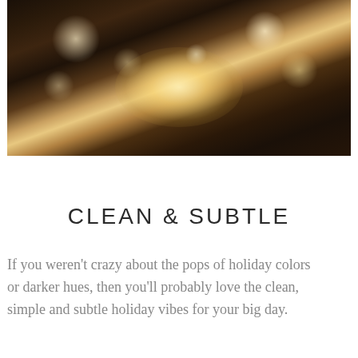[Figure (photo): Wedding couple kissing at night under sparklers held by guests forming an arch, outside a wooden barn/venue with warm glowing lights in the background]
CLEAN & SUBTLE
If you weren't crazy about the pops of holiday colors or darker hues, then you'll probably love the clean, simple and subtle holiday vibes for your big day.